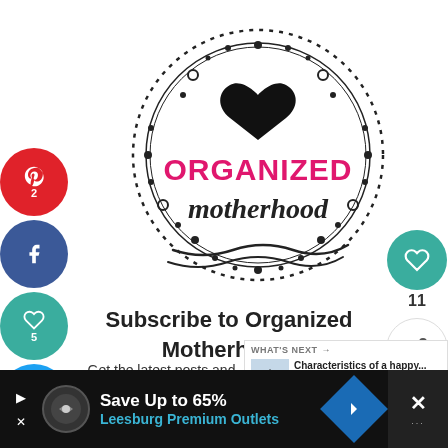[Figure (logo): Organized Motherhood logo: circular border with decorative dots and dashes, black heart at top, hot pink text 'ORGANIZED', black handwritten-style text 'motherhood']
Subscribe to Organized Motherhood!
Get the latest posts and simple tips to simplify your life from Organized Motherhood straight to your inbox.
[Figure (screenshot): What's Next overlay with thumbnail and text: Characteristics of a happy...]
[Figure (screenshot): Social share buttons on left: Pinterest (2), Facebook, Heart (5), Twitter. Right side: heart button with count 11, share button. Bottom: Save Up to 65% Leesburg Premium Outlets advertisement bar.]